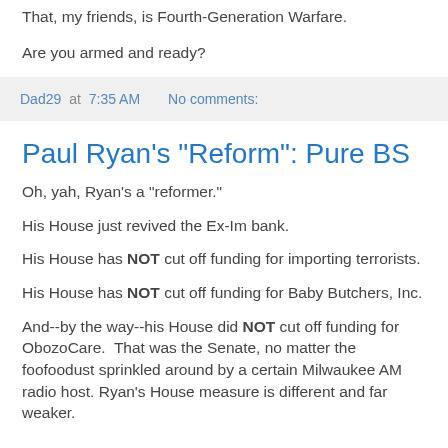That, my friends, is Fourth-Generation Warfare.
Are you armed and ready?
Dad29 at 7:35 AM    No comments:
Paul Ryan's "Reform": Pure BS
Oh, yah, Ryan's a "reformer."
His House just revived the Ex-Im bank.
His House has NOT cut off funding for importing terrorists.
His House has NOT cut off funding for Baby Butchers, Inc.
And--by the way--his House did NOT cut off funding for ObozoCare.  That was the Senate, no matter the foofoodust sprinkled around by a certain Milwaukee AM radio host. Ryan's House measure is different and far weaker.